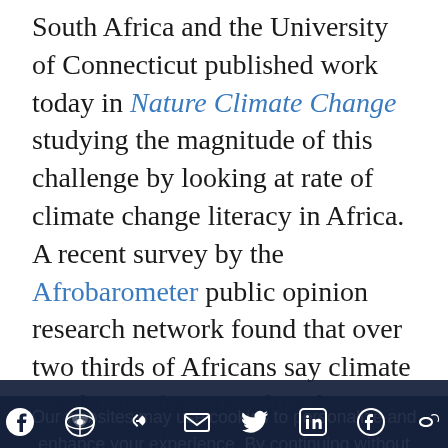South Africa and the University of Connecticut published work today in Nature Climate Change studying the magnitude of this challenge by looking at rate of climate change literacy in Africa. A recent survey by the Afrobarometer public opinion research network found that over two thirds of Africans say climate conditions for agricultural production have worsened over the past ten years; 71% agreed climate change would reduce agricultural production, but expressed reduced confidence about their ability to make difference. Talbot Andrews, assistant professor of political science and co-author of the study, says, "The environment is changing, and the effects of climate change and people's political efficacy to advocate about climate about cli...
Our websites may use cookies to personalize and enhance your experience. By continuing without changing your cookie settings, you agree to this collection. For more information, please see our UNIVERSITY WEBSITES PRIVACY NOTICE.